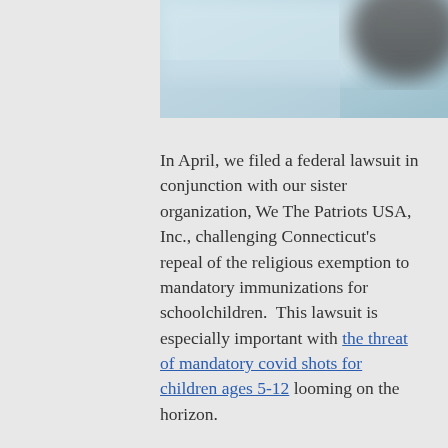[Figure (photo): Blurred header image with light blue/teal tones on the left and a dark blurred object on the right]
In April, we filed a federal lawsuit in conjunction with our sister organization, We The Patriots USA, Inc., challenging Connecticut’s repeal of the religious exemption to mandatory immunizations for schoolchildren.  This lawsuit is especially important with the threat of mandatory covid shots for children ages 5-12 looming on the horizon.
A lot has happened since April.  Briefs have been filed, as well as motions to dismiss and objections to motions...